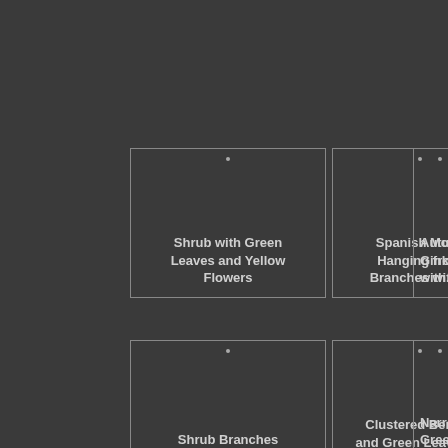Shrub with Green Leaves and Yellow Flowers
Spanish Moss Hanging from Branches with...
Autumn Ginkgo with...
Shrub Branches
Clustered Berries and Green Leaves of a...
Narrow Green...